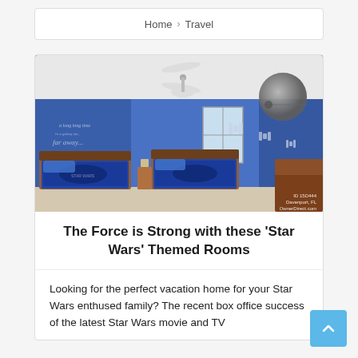Home > Travel
[Figure (photo): Star Wars themed bedroom with blue walls, two beds with Star Wars bedding, ceiling fan, Death Star wall decal, TIE fighter decals, and text 'a long long time in a galaxy far away...' on the wall. Watermark: ID 15D444 Davenport, FL OwnerDirect.com]
The Force is Strong with these ‘Star Wars’ Themed Rooms
Looking for the perfect vacation home for your Star Wars enthused family? The recent box office success of the latest Star Wars movie and TV...